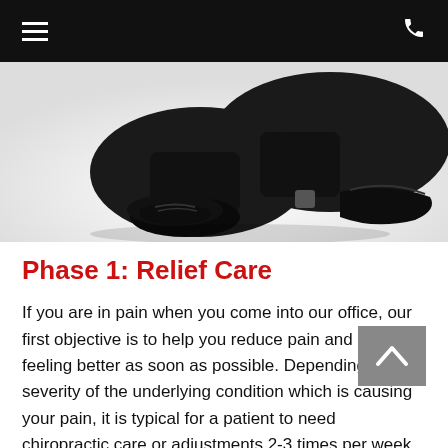Navigation bar with hamburger menu and phone icon
[Figure (photo): A person kneeling on the ground wearing black dress shoes and dark trousers, shot from the waist down against a white background.]
Phase 1: Relief Care
If you are in pain when you come into our office, our first objective is to help you reduce pain and start feeling better as soon as possible. Depending on the severity of the underlying condition which is causing your pain, it is typical for a patient to need chiropractic care or adjustments 2-3 times per week for 4-12 weeks.